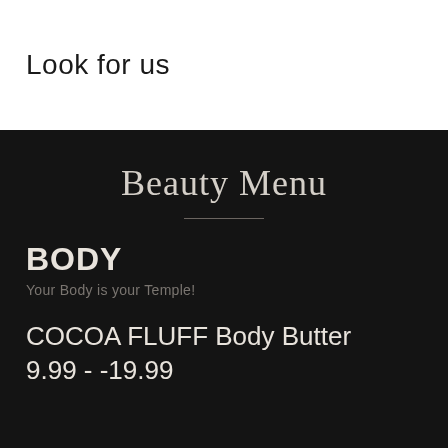Look for us
Beauty Menu
BODY
Your Body is your Temple!
COCOA FLUFF Body Butter 9.99 - -19.99